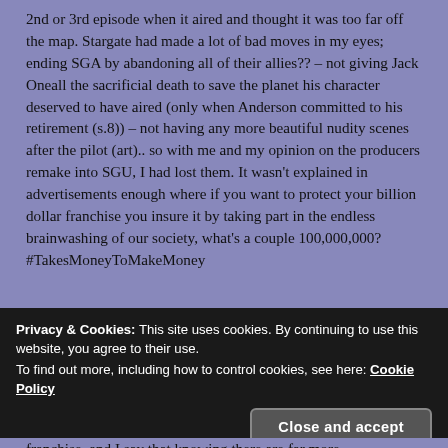2nd or 3rd episode when it aired and thought it was too far off the map. Stargate had made a lot of bad moves in my eyes; ending SGA by abandoning all of their allies?? – not giving Jack Oneall the sacrificial death to save the planet his character deserved to have aired (only when Anderson committed to his retirement (s.8)) – not having any more beautiful nudity scenes after the pilot (art).. so with me and my opinion on the producers remake into SGU, I had lost them. It wasn't explained in advertisements enough where if you want to protect your billion dollar franchise you insure it by taking part in the endless brainwashing of our society, what's a couple 100,000,000? #TakesMoneyToMakeMoney
Privacy & Cookies: This site uses cookies. By continuing to use this website, you agree to their use. To find out more, including how to control cookies, see here: Cookie Policy
Close and accept
franchise, and I say that knowing there are far more